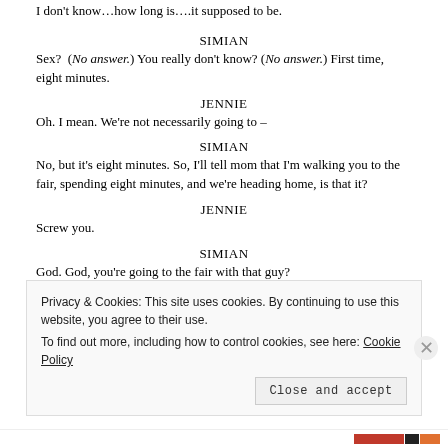I don't know…how long is….it supposed to be.
SIMIAN
Sex? (No answer.) You really don't know? (No answer.) First time, eight minutes.
JENNIE
Oh. I mean. We're not necessarily going to –
SIMIAN
No, but it's eight minutes. So, I'll tell mom that I'm walking you to the fair, spending eight minutes, and we're heading home, is that it?
JENNIE
Screw you.
SIMIAN
God. God, you're going to the fair with that guy?
(She shrugs.)
Jesus. That kid needs a good hump.
JENNIE
Don't say that word.
Privacy & Cookies: This site uses cookies. By continuing to use this website, you agree to their use. To find out more, including how to control cookies, see here: Cookie Policy